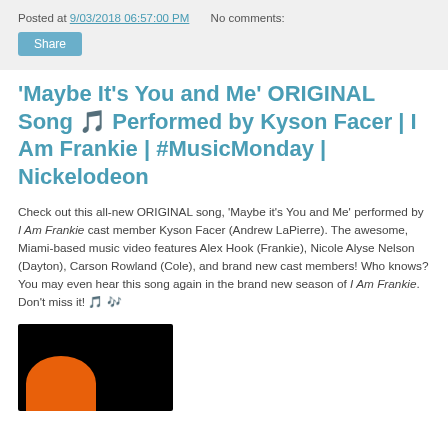Posted at 9/03/2018 06:57:00 PM   No comments:
Share
'Maybe It's You and Me' ORIGINAL Song 🎵 Performed by Kyson Facer | I Am Frankie | #MusicMonday | Nickelodeon
Check out this all-new ORIGINAL song, 'Maybe it's You and Me' performed by I Am Frankie cast member Kyson Facer (Andrew LaPierre). The awesome, Miami-based music video features Alex Hook (Frankie), Nicole Alyse Nelson (Dayton), Carson Rowland (Cole), and brand new cast members! Who knows? You may even hear this song again in the brand new season of I Am Frankie. Don't miss it! 🎵 🎶
[Figure (photo): Thumbnail image showing a dark background with an orange semi-circle at the bottom left, likely a music video or show thumbnail for Nickelodeon content.]